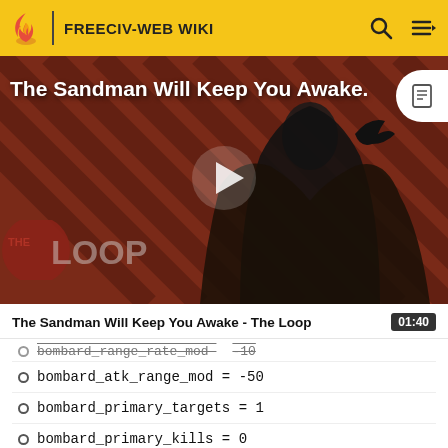FREECIV-WEB WIKI
[Figure (screenshot): Video thumbnail for 'The Sandman Will Keep You Awake - The Loop' showing a dark-robed figure against a red striped background, with THE LOOP badge at bottom left and a play button in the center.]
The Sandman Will Keep You Awake - The Loop  01:40
bombard_range_rate_mod  -10
bombard_atk_range_mod = -50
bombard_primary_targets = 1
bombard_primary_kills = 0